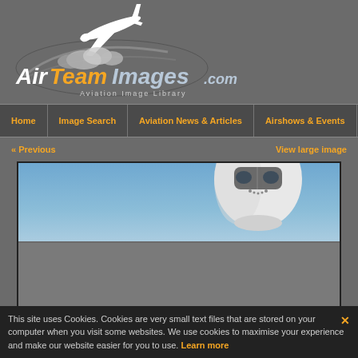[Figure (logo): AirTeamImages.com Aviation Image Library logo with airplane and swoosh graphic]
Home | Image Search | Aviation News & Articles | Airshows & Events
« Previous   View large image
[Figure (photo): Close-up nose-on view of a large commercial aircraft (appears to be a Boeing 747 or similar wide-body) against a blue sky background]
This site uses Cookies. Cookies are very small text files that are stored on your computer when you visit some websites. We use cookies to maximise your experience and make our website easier for you to use. Learn more